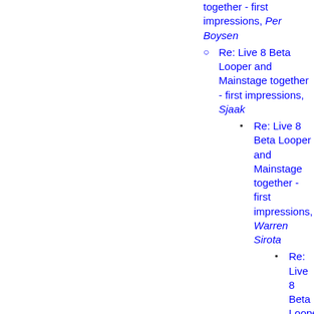together - first impressions, Per Boysen
Re: Live 8 Beta Looper and Mainstage together - first impressions, Sjaak
Re: Live 8 Beta Looper and Mainstage together - first impressions, Warren Sirota
Re: Live 8 Beta Looper and Mainstage together - first impressions, Per Boysen
Re: Live 8 Beta Looper and Mainstage together - first impressions, Sjaak